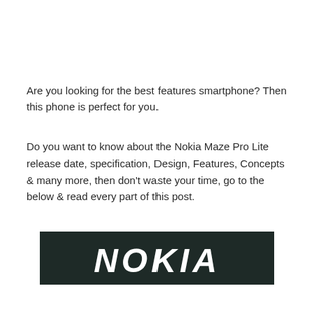Are you looking for the best features smartphone? Then this phone is perfect for you.
Do you want to know about the Nokia Maze Pro Lite release date, specification, Design, Features, Concepts & many more, then don't waste your time, go to the below & read every part of this post.
[Figure (logo): Nokia logo on dark green/black background, white bold italic text reading NOKIA]